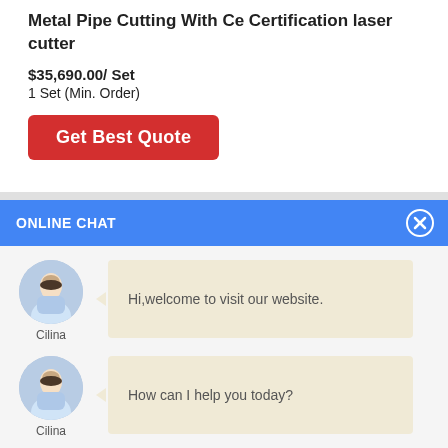Metal Pipe Cutting With Ce Certification laser cutter
$35,690.00/ Set
1 Set (Min. Order)
Get Best Quote
ONLINE CHAT
[Figure (screenshot): Online chat widget with avatar of customer service agent named Cilina and chat bubble saying 'Hi,welcome to visit our website.']
[Figure (screenshot): Second chat message from Cilina with chat bubble saying 'How can I help you today?']